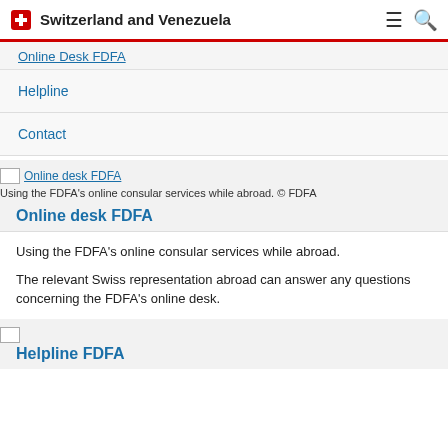Switzerland and Venezuela
Online Desk FDFA
Helpline
Contact
[Figure (screenshot): Online desk FDFA image placeholder]
Using the FDFA's online consular services while abroad. © FDFA
Online desk FDFA
Using the FDFA's online consular services while abroad.
The relevant Swiss representation abroad can answer any questions concerning the FDFA's online desk.
[Figure (screenshot): Helpline FDFA image placeholder]
Helpline FDFA